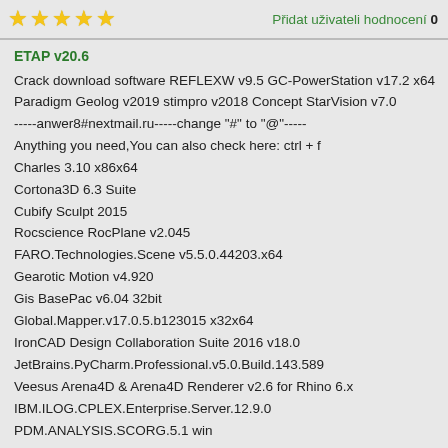★★★★★   Přidat uživateli hodnocení 0
ETAP v20.6
Crack download software REFLEXW v9.5 GC-PowerStation v17.2 x64 Paradigm Geolog v2019 stimpro v2018 Concept StarVision v7.0
-----anwer8#nextmail.ru-----change "#" to "@"-----
Anything you need,You can also check here: ctrl + f
Charles 3.10 x86x64
Cortona3D 6.3 Suite
Cubify Sculpt 2015
Rocscience RocPlane v2.045
FARO.Technologies.Scene v5.5.0.44203.x64
Gearotic Motion v4.920
Gis BasePac v6.04 32bit
Global.Mapper.v17.0.5.b123015 x32x64
IronCAD Design Collaboration Suite 2016 v18.0
JetBrains.PyCharm.Professional.v5.0.Build.143.589
Veesus Arena4D & Arena4D Renderer v2.6 for Rhino 6.x
IBM.ILOG.CPLEX.Enterprise.Server.12.9.0
PDM.ANALYSIS.SCORG.5.1 win
Rapid Resizer v3.4.1
flownex SE 2020 v8.11.1
ESI ProCAST 2019.0 Suite x64
Oasys.Suite 17.0 x64